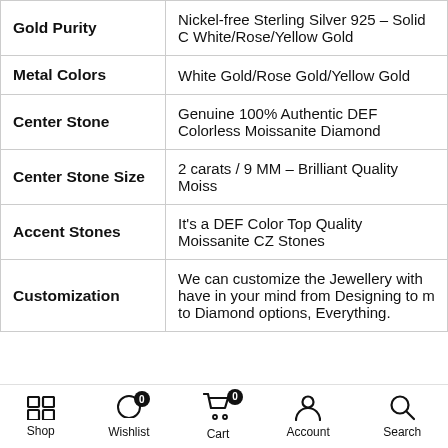| Property | Value |
| --- | --- |
| Gold Purity | Nickel-free Sterling Silver 925 – Solid C White/Rose/Yellow Gold |
| Metal Colors | White Gold/Rose Gold/Yellow Gold |
| Center Stone | Genuine 100% Authentic DEF Colorless Moissanite Diamond |
| Center Stone Size | 2 carats / 9 MM – Brilliant Quality Moiss |
| Accent Stones | It's a DEF Color Top Quality Moissanite CZ Stones |
| Customization | We can customize the Jewellery with have in your mind from Designing to m to Diamond options, Everything. |
Shop  Wishlist  Cart 0  Account  Search